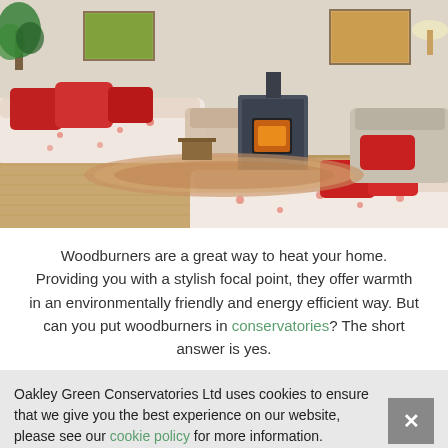[Figure (photo): Interior living room with floral sofas and red cushions, a modern wood-burning stove/pellet stove in the center, paintings on the wall, and a patterned rug on a wooden floor.]
Woodburners are a great way to heat your home. Providing you with a stylish focal point, they offer warmth in an environmentally friendly and energy efficient way. But can you put woodburners in conservatories? The short answer is yes.
Oakley Green Conservatories Ltd uses cookies to ensure that we give you the best experience on our website, please see our cookie policy for more information.